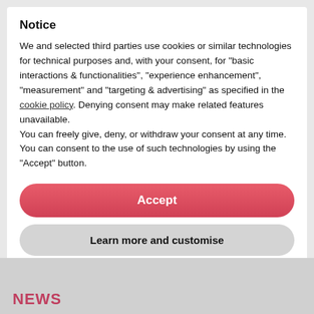Notice
We and selected third parties use cookies or similar technologies for technical purposes and, with your consent, for “basic interactions & functionalities”, “experience enhancement”, “measurement” and “targeting & advertising” as specified in the cookie policy. Denying consent may make related features unavailable.
You can freely give, deny, or withdraw your consent at any time. You can consent to the use of such technologies by using the “Accept” button.
Accept
Learn more and customise
NEWS